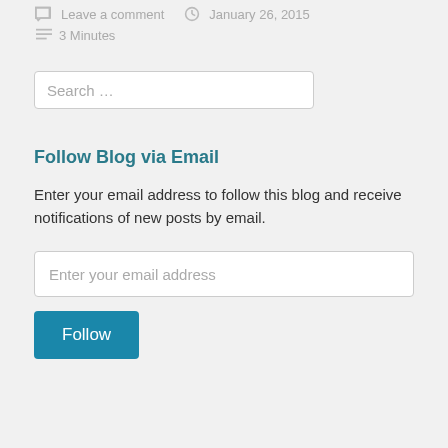Leave a comment  January 26, 2015  3 Minutes
Search …
Follow Blog via Email
Enter your email address to follow this blog and receive notifications of new posts by email.
Enter your email address
Follow